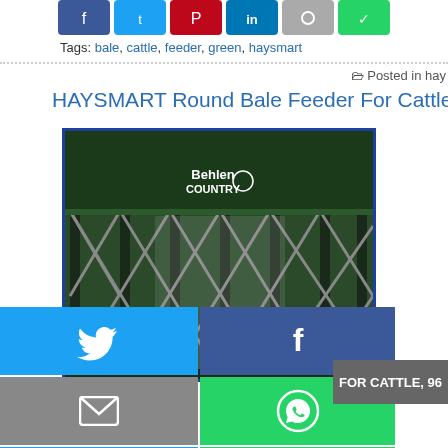[Figure (other): Row of social media share buttons: Facebook (blue), Twitter (cyan), Pinterest (red), LinkedIn (blue), grey button, WhatsApp (green)]
Tags: bale, cattle, feeder, green, haysmart
Posted in hay
HAYSMART Round Bale Feeder For Cattle, 96L x 96W x
[Figure (photo): Green round bale feeder (Behlen Country brand) with metal cross-hatch frame, photographed against white background]
[Figure (other): Social media share overlay buttons: Twitter (blue), Facebook (dark blue), Email (grey), WhatsApp (green), SMS (blue), another share option (green)]
FOR CATTLE, 96